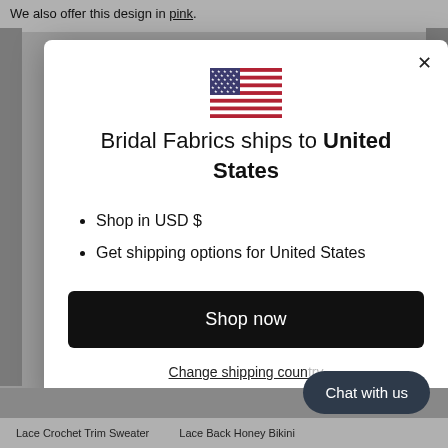We also offer this design in pink.
[Figure (screenshot): Modal dialog showing US flag, shipping information for United States]
Bridal Fabrics ships to United States
Shop in USD $
Get shipping options for United States
Shop now
Change shipping country
Chat with us